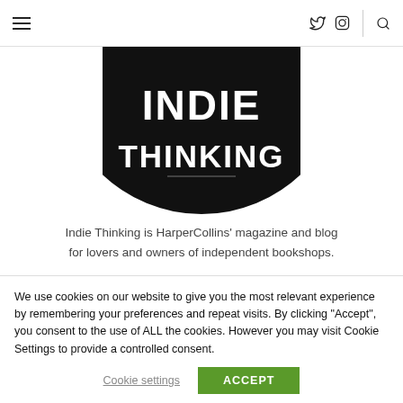≡  𝕏  📷  🔍
[Figure (logo): Indie Thinking logo — white text 'INDIE THINKING' on a black semicircle]
Indie Thinking is HarperCollins' magazine and blog for lovers and owners of independent bookshops.
We use cookies on our website to give you the most relevant experience by remembering your preferences and repeat visits. By clicking "Accept", you consent to the use of ALL the cookies. However you may visit Cookie Settings to provide a controlled consent.
Cookie settings   ACCEPT